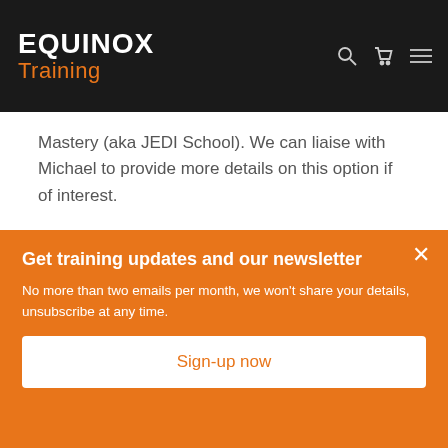EQUINOX Training
Mastery (aka JEDI School). We can liaise with Michael to provide more details on this option if of interest.
Similar courses
Get training updates and our newsletter
No more than two emails per month, we won't share your details, unsubscribe at any time.
Sign-up now